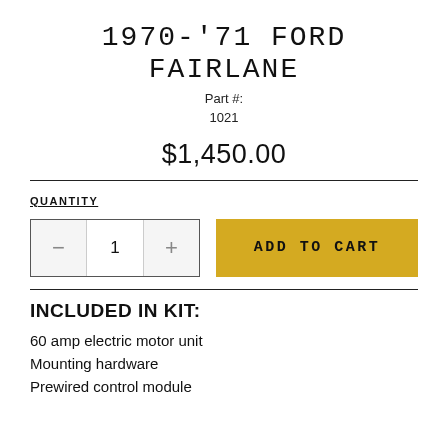1970-'71 FORD FAIRLANE
Part #:
1021
$1,450.00
QUANTITY
− 1 + ADD TO CART
INCLUDED IN KIT:
60 amp electric motor unit
Mounting hardware
Prewired control module